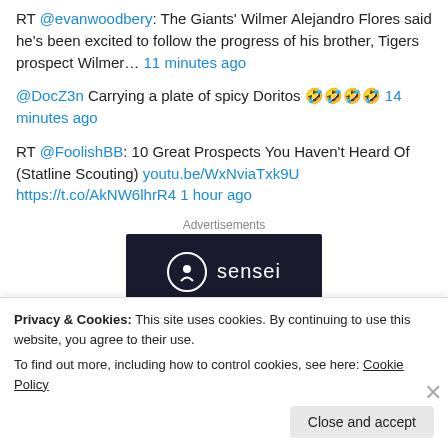RT @evanwoodbery: The Giants' Wilmer Alejandro Flores said he's been excited to follow the progress of his brother, Tigers prospect Wilmer… 11 minutes ago
@DocZ3n Carrying a plate of spicy Doritos 🤣🤣🤣🤣 14 minutes ago
RT @FoolishBB: 10 Great Prospects You Haven't Heard Of (Statline Scouting) youtu.be/WxNviaTxk9U https://t.co/AkNW6lhrR4 1 hour ago
[Figure (logo): Sensei logo on dark background — white circle with tree/person icon and 'sensei' text]
Privacy & Cookies: This site uses cookies. By continuing to use this website, you agree to their use.
To find out more, including how to control cookies, see here: Cookie Policy